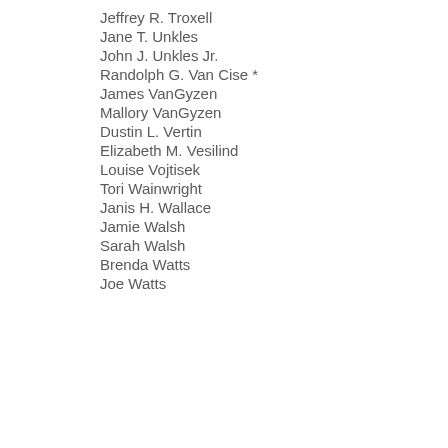Jeffrey R. Troxell
Jane T. Unkles
John J. Unkles Jr.
Randolph G. Van Cise *
James VanGyzen
Mallory VanGyzen
Dustin L. Vertin
Elizabeth M. Vesilind
Louise Vojtisek
Tori Wainwright
Janis H. Wallace
Jamie Walsh
Sarah Walsh
Brenda Watts
Joe Watts